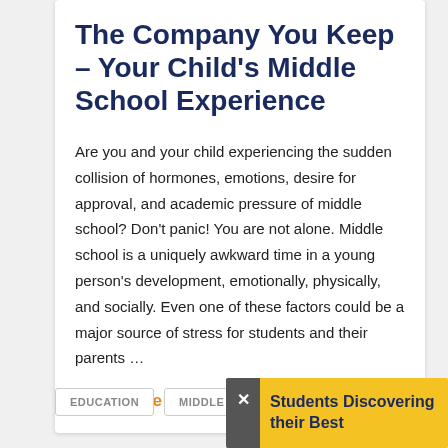The Company You Keep – Your Child's Middle School Experience
Are you and your child experiencing the sudden collision of hormones, emotions, desire for approval, and academic pressure of middle school? Don't panic! You are not alone. Middle school is a uniquely awkward time in a young person's development, emotionally, physically, and socially. Even one of these factors could be a major source of stress for students and their parents …
Read More
EDUCATION
MIDDLE SCHOOL
Students Discovering their Best